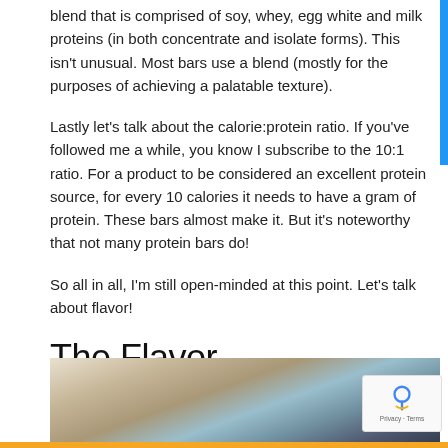blend that is comprised of soy, whey, egg white and milk proteins (in both concentrate and isolate forms). This isn't unusual. Most bars use a blend (mostly for the purposes of achieving a palatable texture).
Lastly let's talk about the calorie:protein ratio. If you've followed me a while, you know I subscribe to the 10:1 ratio. For a product to be considered an excellent protein source, for every 10 calories it needs to have a gram of protein. These bars almost make it. But it's noteworthy that not many protein bars do!
So all in all, I'm still open-minded at this point. Let's talk about flavor!
The Flavor
[Figure (photo): Photo of protein bars, partially blurred, showing bar pieces and packaging in the background]